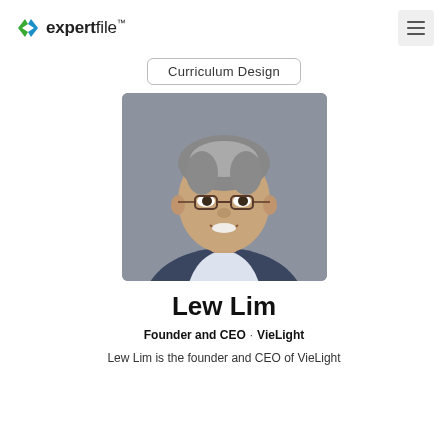expertfile™
Curriculum Design
[Figure (photo): Professional headshot of Lew Lim, a middle-aged Asian man with gray hair, wearing glasses and a dark blue blazer over a white shirt, smiling, against a gray background.]
Lew Lim
Founder and CEO · VieLight
Lew Lim is the founder and CEO of VieLight